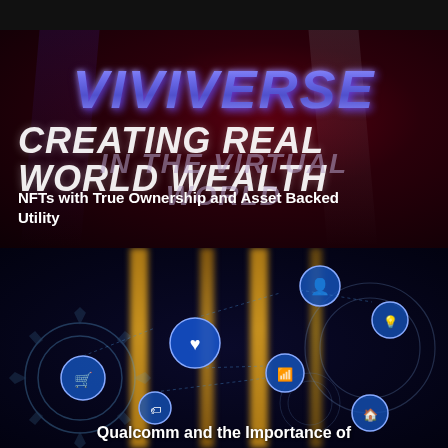[Figure (screenshot): Dark top bar strip at top of page]
[Figure (screenshot): Viviverse promotional image showing 'VIVIVERSE' logo in purple italic text, 'CREATING REAL WORLD WEALTH' text, and 'IN THE VIRTUAL WORLD' overlaid text on dark red/purple background with stage lighting]
NFTs with True Ownership and Asset Backed Utility
[Figure (screenshot): Technology infographic with glowing gear icons, person/heart/WiFi/shopping cart/lightbulb icons in blue circles, connected by circuit lines, with amber/orange light beams on dark blue-black background]
Qualcomm and the Importance of